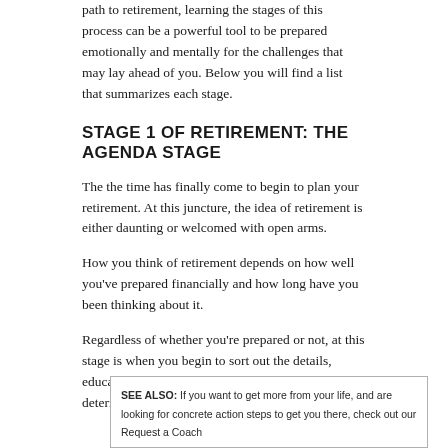path to retirement, learning the stages of this process can be a powerful tool to be prepared emotionally and mentally for the challenges that may lay ahead of you. Below you will find a list that summarizes each stage.
STAGE 1 OF RETIREMENT: THE AGENDA STAGE
The the time has finally come to begin to plan your retirement. At this juncture, the idea of retirement is either daunting or welcomed with open arms.
How you think of retirement depends on how well you've prepared financially and how long have you been thinking about it.
Regardless of whether you're prepared or not, at this stage is when you begin to sort out the details, educate yourself and make the decisions that will determine the next big step of your life.
SEE ALSO: If you want to get more from your life, and are looking for concrete action steps to get you there, check out our Request a Coach